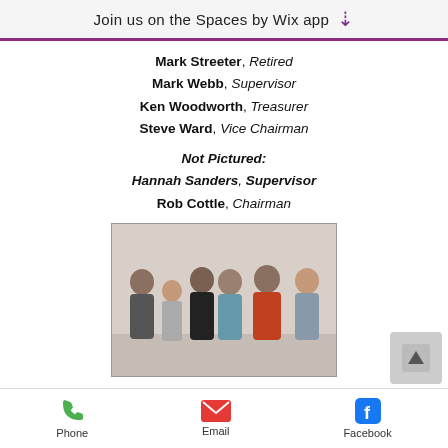Join us on the Spaces by Wix app
Mark Streeter, Retired
Mark Webb, Supervisor
Ken Woodworth, Treasurer
Steve Ward, Vice Chairman
Not Pictured:
Hannah Sanders, Supervisor
Rob Cottle, Chairman
[Figure (photo): Group photo of six people standing together indoors — West Cassia SWCD members]
West Cassia SWCD
(From left to right)
Ken Black - Supervisor
Kathy Poulton - Treasurer
Phone   Email   Facebook